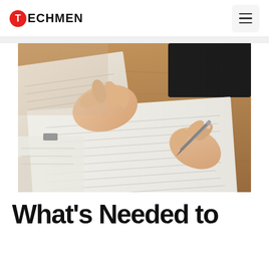TECHMEN
[Figure (photo): Close-up photo of a person's hands writing on a document with a pen, on a wooden desk. Another hand holds papers in the background.]
What's Needed to